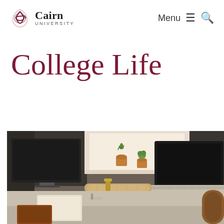Cairn University | Menu | Search
College Life
[Figure (photo): A college desk workspace scene with a laptop on a wooden stand, a desktop monitor, small potted plants on a windowsill, notebooks, and leather accessories on a desk surface]